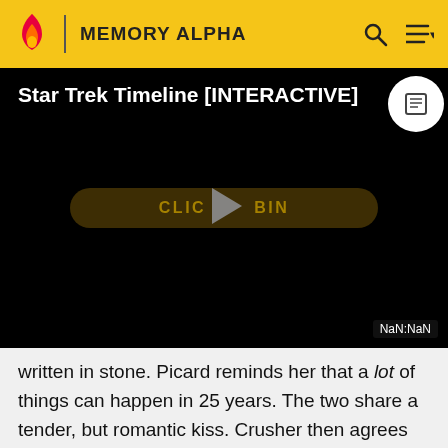MEMORY ALPHA
[Figure (screenshot): Star Trek Timeline [INTERACTIVE] video player on Memory Alpha wiki, showing a black video screen with play button overlay and 'CLICK TO BEGIN' button. NaN:NaN timestamp shown.]
written in stone. Picard reminds her that a lot of things can happen in 25 years. The two share a tender, but romantic kiss. Crusher then agrees with him and leaves.
[Figure (screenshot): Dark image at the bottom of the page, partially visible.]